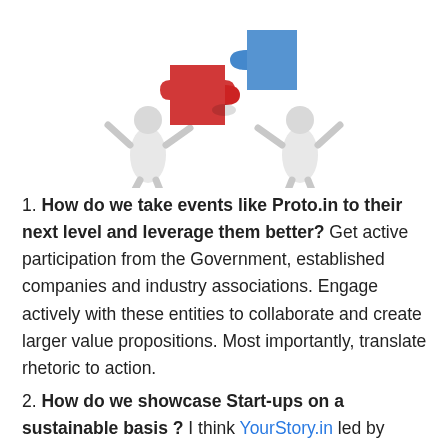[Figure (illustration): 3D illustration of two small humanoid figures holding red and blue puzzle pieces together against a white background]
1. How do we take events like Proto.in to their next level and leverage them better? Get active participation from the Government, established companies and industry associations. Engage actively with these entities to collaborate and create larger value propositions. Most importantly, translate rhetoric to action.
2. How do we showcase Start-ups on a sustainable basis ? I think YourStory.in led by Shraddha is doing a great job providing focused and sustained visibility to Entrepreneurs. She can take her proposition to the next level, tracking successes, failures, valuation, spin-offs etc.